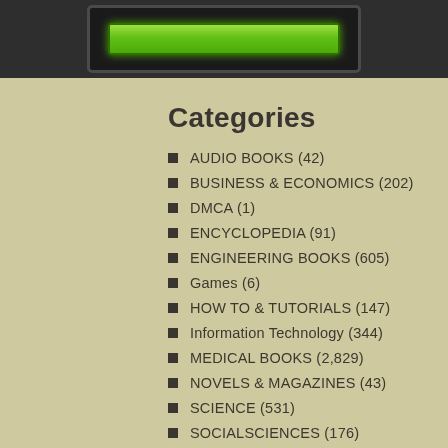[Figure (screenshot): Top portion of a device/app interface showing a dark screen with a green progress/status bar]
Categories
AUDIO BOOKS (42)
BUSINESS & ECONOMICS (202)
DMCA (1)
ENCYCLOPEDIA (91)
ENGINEERING BOOKS (605)
Games (6)
HOW TO & TUTORIALS (147)
Information Technology (344)
MEDICAL BOOKS (2,829)
NOVELS & MAGAZINES (43)
SCIENCE (531)
SOCIALSCIENCES (176)